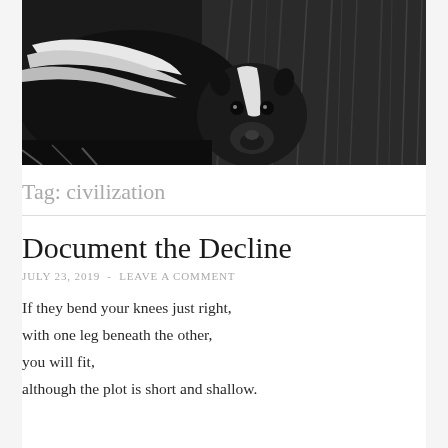[Figure (photo): Black and white photograph of a skunk facing the camera, surrounded by dry grass or reeds in the background.]
Tag: civilization
Document the Decline
JULY 23, 2019  -  LEAVE A COMMENT
If they bend your knees just right,
with one leg beneath the other,
you will fit,
although the plot is short and shallow.